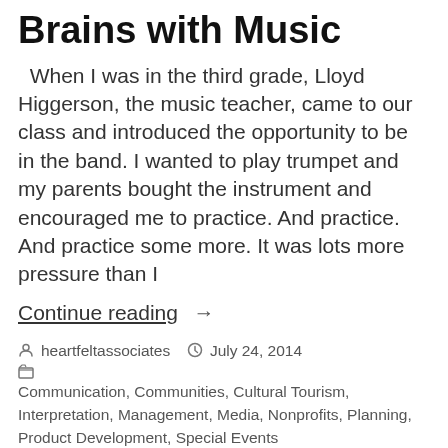Brains with Music
When I was in the third grade, Lloyd Higgerson, the music teacher, came to our class and introduced the opportunity to be in the band. I wanted to play trumpet and my parents bought the instrument and encouraged me to practice. And practice. And practice some more. It was lots more pressure than I
Continue reading →
By heartfeltassociates   July 24, 2014   Communication, Communities, Cultural Tourism, Interpretation, Management, Media, Nonprofits, Planning, Product Development, Special Events   music, neuroscience   Leave a comment